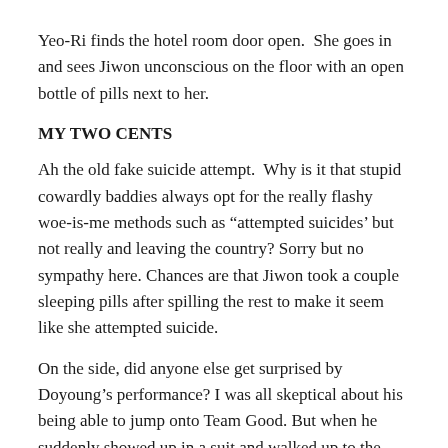Yeo-Ri finds the hotel room door open.  She goes in and sees Jiwon unconscious on the floor with an open bottle of pills next to her.
MY TWO CENTS
Ah the old fake suicide attempt.  Why is it that stupid cowardly baddies always opt for the really flashy woe-is-me methods such as “attempted suicides’ but not really and leaving the country? Sorry but no sympathy here. Chances are that Jiwon took a couple sleeping pills after spilling the rest to make it seem like she attempted suicide.
On the side, did anyone else get surprised by Doyoung’s performance? I was all skeptical about his being able to jump onto Team Good. But when he suddenly showed up in a suit and walked up to the front of the teleconference? I was holding my breath despite myself wondering how he could save Do-Chi.
Then! He slams down his statement declaring that his wife lied and falsified evidence in front of the conference for all of the journalists! I felt my heart skip a beat and I knew that I would welcome Doyoung